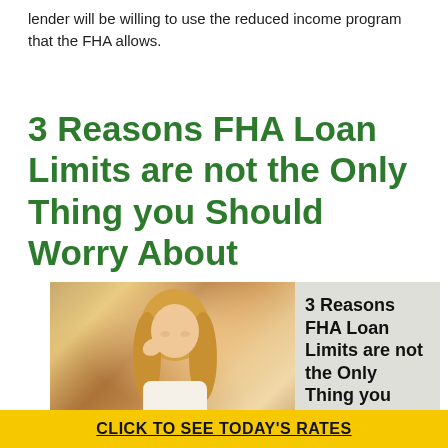lender will be willing to use the reduced income program that the FHA allows.
3 Reasons FHA Loan Limits are not the Only Thing you Should Worry About
[Figure (photo): Woman with blonde hair sitting at a table with hand on her head looking stressed, with overlaid text reading '3 Reasons FHA Loan Limits are not the Only Thing you']
CLICK TO SEE TODAY'S RATES